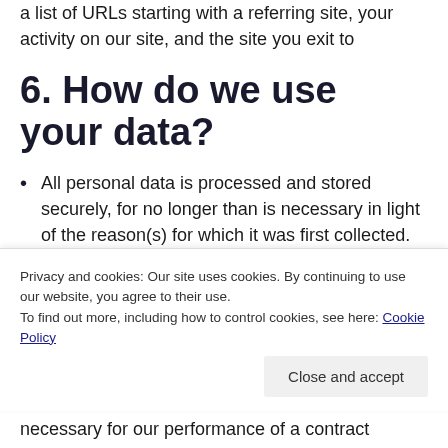a list of URLs starting with a referring site, your activity on our site, and the site you exit to
6. How do we use your data?
All personal data is processed and stored securely, for no longer than is necessary in light of the reason(s) for which it was first collected. We will comply with our obligations
Privacy and cookies: Our site uses cookies. By continuing to use our website, you agree to their use.
To find out more, including how to control cookies, see here: Cookie Policy
Close and accept
necessary for our performance of a contract